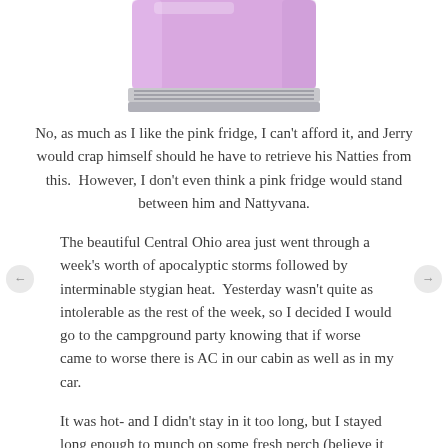[Figure (photo): Bottom portion of a lavender/pink retro-style refrigerator showing the lower body and ventilation grille at the base, on a white background.]
No, as much as I like the pink fridge, I can't afford it, and Jerry would crap himself should he have to retrieve his Natties from this.  However, I don't even think a pink fridge would stand between him and Nattyvana.
The beautiful Central Ohio area just went through a week's worth of apocalyptic storms followed by interminable stygian heat.  Yesterday wasn't quite as intolerable as the rest of the week, so I decided I would go to the campground party knowing that if worse came to worse there is AC in our cabin as well as in my car.
It was hot- and I didn't stay in it too long, but I stayed long enough to munch on some fresh perch (believe it or